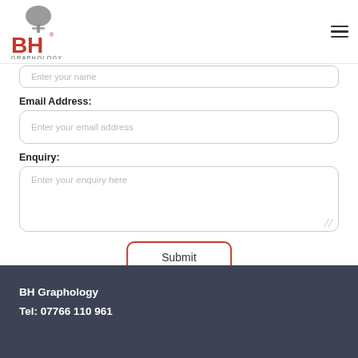[Figure (logo): BH Graphology logo — stylized tree above red B and H letters with 'GRAPHOLOGY' text below]
Enter your name
Email Address:
Enter your email address
Enquiry:
Enter your enquiry here
Submit
BH Graphology
Tel: 07766 110 961